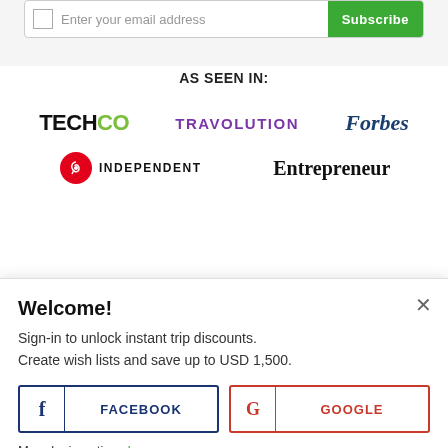[Figure (screenshot): Email subscription bar with placeholder text 'Enter your email address', a checkbox, and a green Subscribe button]
AS SEEN IN:
[Figure (logo): TechCo logo in black and green]
[Figure (logo): TRAVOLUTION logo in purple]
[Figure (logo): Forbes logo in dark blue italic serif]
[Figure (logo): Independent logo with red circle and eagle icon]
[Figure (logo): Entrepreneur logo in black bold serif]
Welcome!
Sign-in to unlock instant trip discounts.
Create wish lists and save up to USD 1,500.
[Figure (screenshot): Facebook login button with blue border and f icon]
[Figure (screenshot): Google login button with red border and G icon]
More login options here.